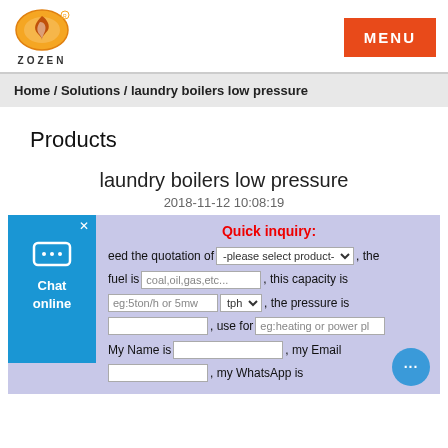[Figure (logo): ZOZEN boiler company logo with orange flame icon and ZOZEN text below]
MENU
Home / Solutions / laundry boilers low pressure
Products
laundry boilers low pressure
2018-11-12 10:08:19
Quick inquiry:
eed the quotation of -please select product- , the fuel is coal,oil,gas,etc... , this capacity is eg:5ton/h or 5mw tph , the pressure is , use for eg:heating or power pl My Name is , my Email , my WhatsApp is